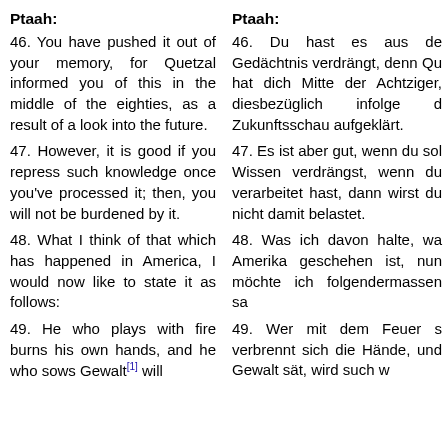Ptaah:
46. You have pushed it out of your memory, for Quetzal informed you of this in the middle of the eighties, as a result of a look into the future.
47. However, it is good if you repress such knowledge once you’ve processed it; then, you will not be burdened by it.
48. What I think of that which has happened in America, I would now like to state it as follows:
49. He who plays with fire burns his own hands, and he who sows Gewalt[1] will
Ptaah:
46. Du hast es aus de Gedächtnis verdrängt, denn Qu hat dich Mitte der Achtziger, diesbezüglich infolge d Zukunftsschau aufgeklärt.
47. Es ist aber gut, wenn du sol Wissen verdrängst, wenn du verarbeitet hast, dann wirst du nicht damit belastet.
48. Was ich davon halte, wa Amerika geschehen ist, nun möchte ich folgendermassen sa
49. Wer mit dem Feuer s verbrennt sich die Hände, und Gewalt sät, wird such w